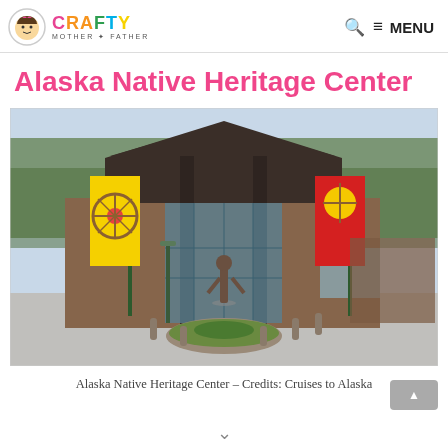CRAFTY MOTHER + FATHER | MENU
Alaska Native Heritage Center
[Figure (photo): Exterior photograph of the Alaska Native Heritage Center building, showing a large A-frame style structure with brick facade, tall glass entrance, decorative banners on poles (yellow banner with circular indigenous art on left, red banner with circular indigenous art on right), a bronze statue near the entrance, and a circular planter in the foreground parking area. Trees visible in the background.]
Alaska Native Heritage Center – Credits: Cruises to Alaska